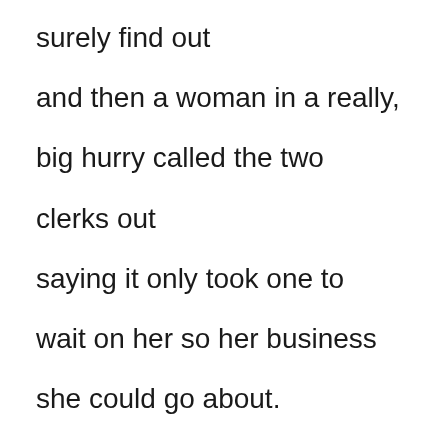surely find out

and then a woman in a really,

big hurry called the two

clerks out

saying it only took one to

wait on her so her business

she could go about.

She wanted to exchange a